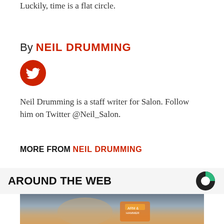Luckily, time is a flat circle.
By NEIL DRUMMING
[Figure (illustration): Twitter bird icon in red circle]
Neil Drumming is a staff writer for Salon. Follow him on Twitter @Neil_Salon.
MORE FROM NEIL DRUMMING
AROUND THE WEB
[Figure (photo): Person holding Arm & Hammer baking soda box with a spoon]